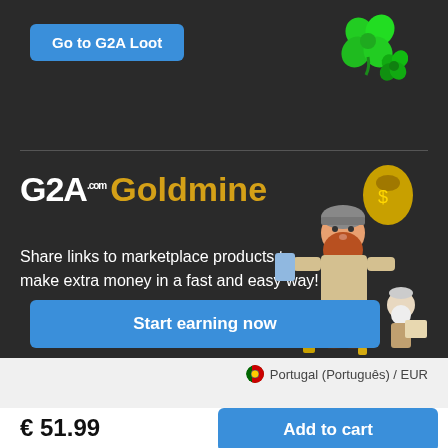Go to G2A Loot
[Figure (illustration): Green clover/shamrock icon in top right corner]
G2A Goldmine
Share links to marketplace products to make extra money in a fast and easy way!
[Figure (illustration): Cartoon dwarf miner character holding a bag of gold with a smaller gnome companion]
Start earning now
Portugal (Português) / EUR
€ 51.99
Add to cart